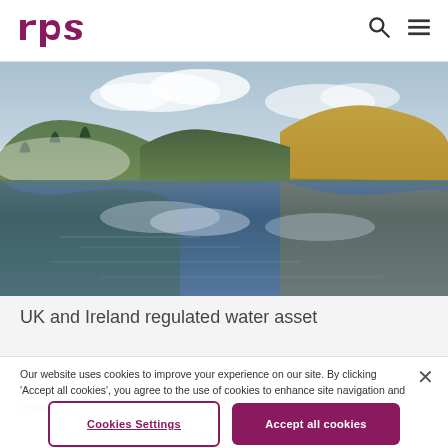RPS logo with search and menu icons
[Figure (photo): Scenic landscape photo of a mountain lake with reflections of sky and clouds, surrounded by hills with autumn-colored vegetation and evergreen trees]
UK and Ireland regulated water asset
Our website uses cookies to improve your experience on our site. By clicking 'Accept all cookies', you agree to the use of cookies to enhance site navigation and provide more personalised services to you.
Cookies Settings | Accept all cookies